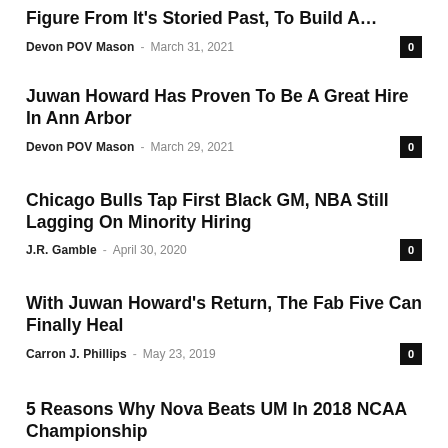Figure From It’s Storied Past, To Build A…
Devon POV Mason – March 31, 2021 | 0
Juwan Howard Has Proven To Be A Great Hire In Ann Arbor
Devon POV Mason – March 29, 2021 | 0
Chicago Bulls Tap First Black GM, NBA Still Lagging On Minority Hiring
J.R. Gamble – April 30, 2020 | 0
With Juwan Howard’s Return, The Fab Five Can Finally Heal
Carron J. Phillips – May 23, 2019 | 0
5 Reasons Why Nova Beats UM In 2018 NCAA Championship